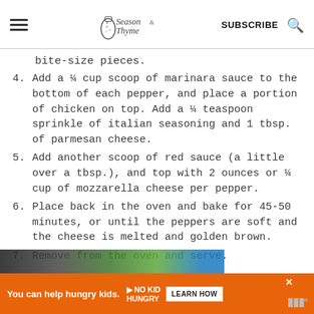Season & Thyme — SUBSCRIBE
bite-size pieces.
4. Add a ¼ cup scoop of marinara sauce to the bottom of each pepper, and place a portion of chicken on top. Add a ¼ teaspoon sprinkle of italian seasoning and 1 tbsp. of parmesan cheese.
5. Add another scoop of red sauce (a little over a tbsp.), and top with 2 ounces or ¼ cup of mozzarella cheese per pepper.
6. Place back in the oven and bake for 45-50 minutes, or until the peppers are soft and the cheese is melted and golden brown.
7. Remove from the oven and serve.
[Figure (other): Partial image strip at bottom showing food photo]
You can help hungry kids. NO KID HUNGRY LEARN HOW